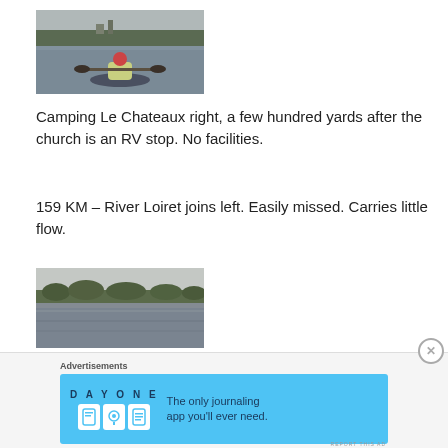[Figure (photo): Person in a kayak/canoe on a river, viewed from behind, with trees and buildings visible on the far bank. Person has red hair and a yellow life vest.]
Camping Le Chateaux right, a few hundred yards after the church is an RV stop. No facilities.
159 KM – River Loiret joins left.  Easily missed. Carries little flow.
[Figure (photo): Wide river view with tree-lined banks under an overcast sky, taken from water level.]
Advertisements
[Figure (other): Advertisement banner for Day One journaling app with text: 'The only journaling app you'll ever need.']